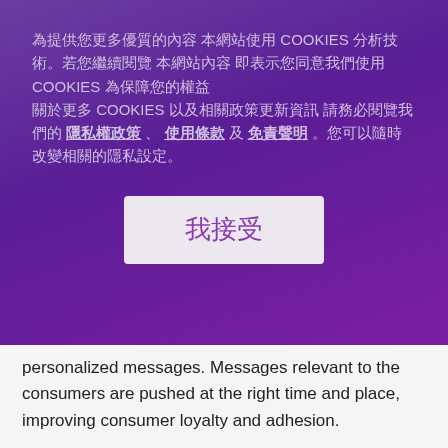為提供您更多優質的內容 本網站使用 COOKIES 分析技術。若您繼續閱覽 本網站內容 即表示您同意我們使用 COOKIES 為保障您的權益 關於更多 COOKIES 以及相關政策更新資訊 請務必閱覽我們的 隱私權政策 、 使用條款 及 免責聲明 。您可以隨時改變相關的隱私設定。
[Figure (other): Cookie consent accept button labeled 我接受 (I Accept) in purple text on a light lavender/grey background button]
personalized messages. Messages relevant to the consumers are pushed at the right time and place, improving consumer loyalty and adhesion.
FEATURING
1  Smart push mechanisms for personalized content &